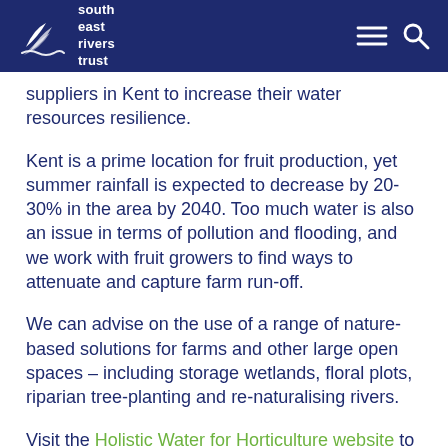south east rivers trust
suppliers in Kent to increase their water resources resilience.
Kent is a prime location for fruit production, yet summer rainfall is expected to decrease by 20-30% in the area by 2040. Too much water is also an issue in terms of pollution and flooding, and we work with fruit growers to find ways to attenuate and capture farm run-off.
We can advise on the use of a range of nature-based solutions for farms and other large open spaces – including storage wetlands, floral plots, riparian tree-planting and re-naturalising rivers.
Visit the Holistic Water for Horticulture website to book a farm visit today!